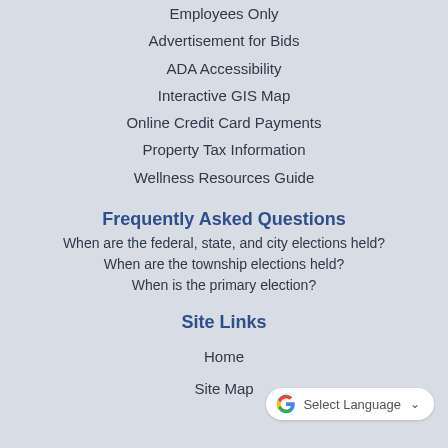Employees Only
Advertisement for Bids
ADA Accessibility
Interactive GIS Map
Online Credit Card Payments
Property Tax Information
Wellness Resources Guide
Frequently Asked Questions
When are the federal, state, and city elections held?
When are the township elections held?
When is the primary election?
Site Links
Home
Site Map